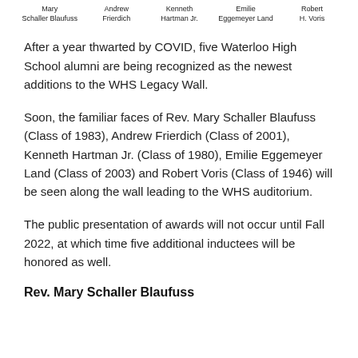Mary Schaller Blaufuss   Andrew Frierdich   Kenneth Hartman Jr.   Emilie Eggemeyer Land   Robert H. Voris
After a year thwarted by COVID, five Waterloo High School alumni are being recognized as the newest additions to the WHS Legacy Wall.
Soon, the familiar faces of Rev. Mary Schaller Blaufuss (Class of 1983), Andrew Frierdich (Class of 2001), Kenneth Hartman Jr. (Class of 1980), Emilie Eggemeyer Land (Class of 2003) and Robert Voris (Class of 1946) will be seen along the wall leading to the WHS auditorium.
The public presentation of awards will not occur until Fall 2022, at which time five additional inductees will be honored as well.
Rev. Mary Schaller Blaufuss